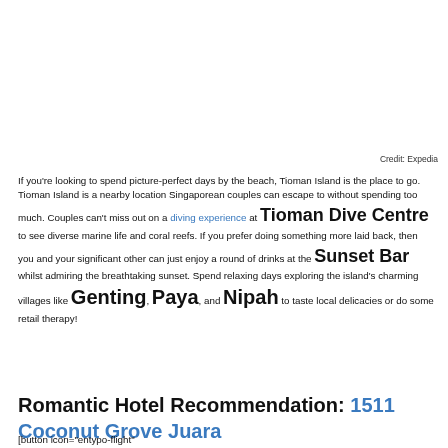Credit: Expedia
If you're looking to spend picture-perfect days by the beach, Tioman Island is the place to go. Tioman Island is a nearby location Singaporean couples can escape to without spending too much. Couples can't miss out on a diving experience at Tioman Dive Centre to see diverse marine life and coral reefs. If you prefer doing something more laid back, then you and your significant other can just enjoy a round of drinks at the Sunset Bar whilst admiring the breathtaking sunset. Spend relaxing days exploring the island's charming villages like Genting, Paya, and Nipah to taste local delicacies or do some retail therapy!
Romantic Hotel Recommendation: 1511 Coconut Grove Juara
[button icon="entypo-flight"